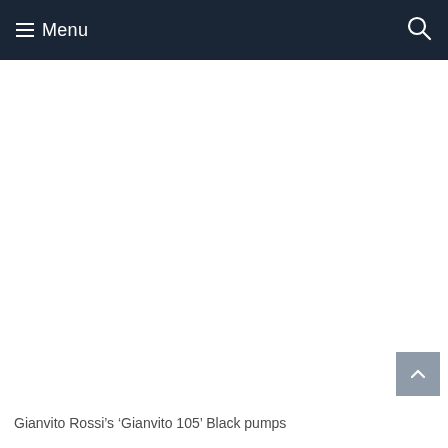Menu
[Figure (photo): Large white/blank content area representing a product image placeholder for Gianvito Rossi 'Gianvito 105' Black pumps]
Gianvito Rossi’s ‘Gianvito 105’ Black pumps